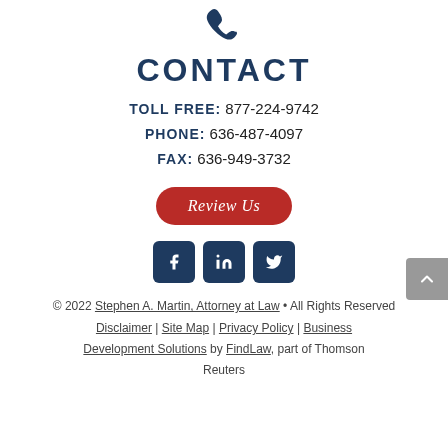[Figure (illustration): Phone/contact icon in dark navy blue]
CONTACT
TOLL FREE: 877-224-9742
PHONE: 636-487-4097
FAX: 636-949-3732
[Figure (other): Red rounded button with italic text 'Review Us']
[Figure (other): Three dark navy social media icons: Facebook, LinkedIn, Twitter]
© 2022 Stephen A. Martin, Attorney at Law • All Rights Reserved
Disclaimer | Site Map | Privacy Policy | Business Development Solutions by FindLaw, part of Thomson Reuters